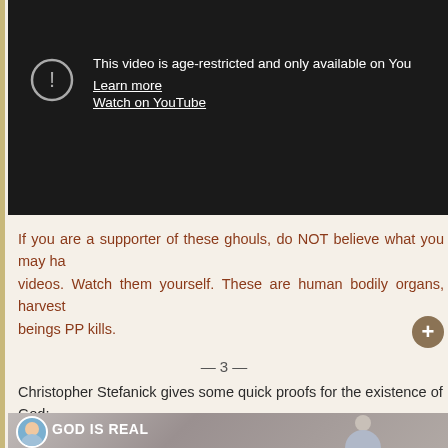[Figure (screenshot): YouTube age-restricted video placeholder with warning icon, 'This video is age-restricted and only available on YouTube. Learn more. Watch on YouTube.']
If you are a supporter of these ghouls, do NOT believe what you may ha... videos. Watch them yourself. These are human bodily organs, harvest... beings PP kills.
— 3 —
Christopher Stefanick gives some quick proofs for the existence of God:
[Figure (screenshot): Video thumbnail showing a man with text 'GOD IS REAL' and a circular avatar photo.]